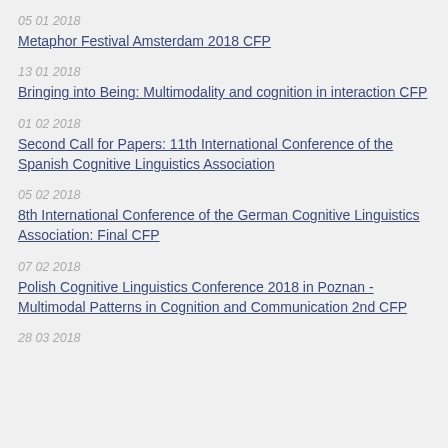05 01 2018
Metaphor Festival Amsterdam 2018 CFP
13 01 2018
Bringing into Being: Multimodality and cognition in interaction CFP
01 02 2018
Second Call for Papers: 11th International Conference of the Spanish Cognitive Linguistics Association
05 02 2018
8th International Conference of the German Cognitive Linguistics Association: Final CFP
07 02 2018
Polish Cognitive Linguistics Conference 2018 in Poznan - Multimodal Patterns in Cognition and Communication 2nd CFP
28 03 2018
...